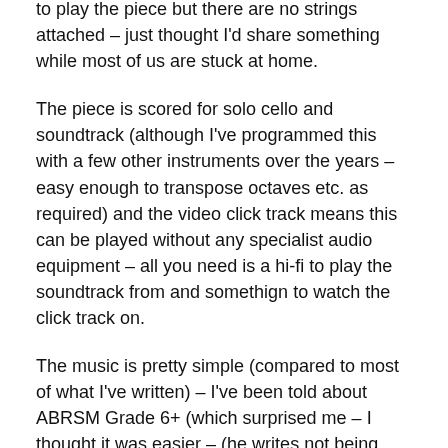to play the piece but there are no strings attached – just thought I'd share something while most of us are stuck at home.
The piece is scored for solo cello and soundtrack (although I've programmed this with a few other instruments over the years – easy enough to transpose octaves etc. as required) and the video click track means this can be played without any specialist audio equipment – all you need is a hi-fi to play the soundtrack from and somethign to watch the click track on.
The music is pretty simple (compared to most of what I've written) – I've been told about ABRSM Grade 6+ (which surprised me – I thought it was easier – (he writes not being able to play a cello)). It's from the from the gentler end of the music I've made essentially inspired by some of the ambient music I have to wait for Oliver Searle and the he also and